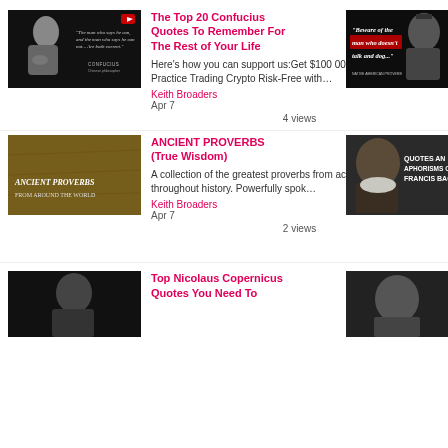[Figure (screenshot): Thumbnail image of Confucius with quote on black background]
The Top 20 Confucius Quotes To Remember For The Rest of Your Life
Here's how you can support us:Get $100 000 Virtual Money to Practice Trading Crypto Risk-Free with…
Keith Broaders
Apr 7
4 views
[Figure (screenshot): Thumbnail image with text: Beware of the man who doesn't talk and dog...]
[Figure (screenshot): Thumbnail image of Ancient Proverbs from Around the World]
ANCIENT PROVERBS (True Wisdom)
A collection of the greatest proverbs from across the globe and throughout history. Powerfully spok…
Keith Broaders
Apr 7
2 views
[Figure (screenshot): Thumbnail image for Quotes and Aphorisms of Francis Bacon]
[Figure (screenshot): Thumbnail image of Nicolaus Copernicus]
Top Nicolaus Copernicus Quotes You Need To